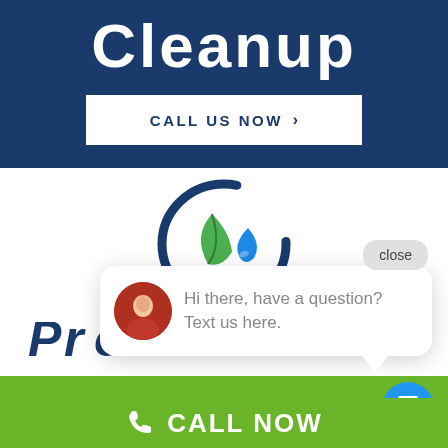Cleanup
CALL US NOW ›
[Figure (logo): Circular logo with green leaf and blue water drop, dark blue circular swoosh border]
close
Hi there, have a question? Text us here.
CALL NOW